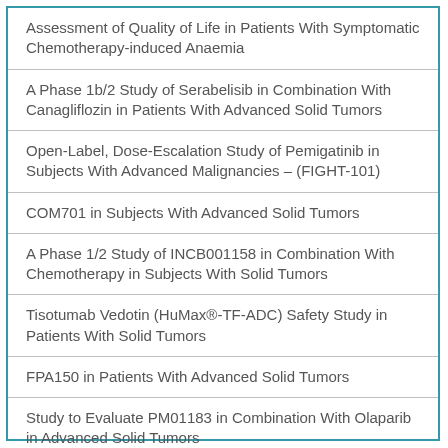Assessment of Quality of Life in Patients With Symptomatic Chemotherapy-induced Anaemia
A Phase 1b/2 Study of Serabelisib in Combination With Canagliflozin in Patients With Advanced Solid Tumors
Open-Label, Dose-Escalation Study of Pemigatinib in Subjects With Advanced Malignancies – (FIGHT-101)
COM701 in Subjects With Advanced Solid Tumors
A Phase 1/2 Study of INCB001158 in Combination With Chemotherapy in Subjects With Solid Tumors
Tisotumab Vedotin (HuMax®-TF-ADC) Safety Study in Patients With Solid Tumors
FPA150 in Patients With Advanced Solid Tumors
Study to Evaluate PM01183 in Combination With Olaparib in Advanced Solid Tumors